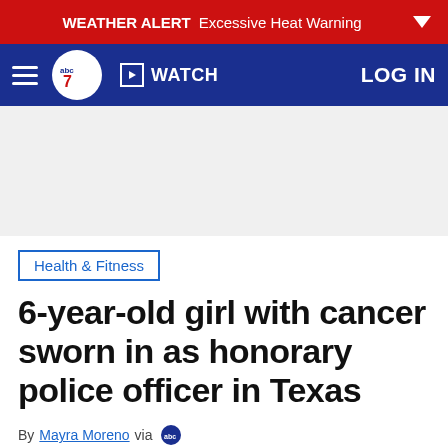WEATHER ALERT Excessive Heat Warning
abc7 WATCH LOG IN
[Figure (other): Advertisement / empty ad space placeholder]
Health & Fitness
6-year-old girl with cancer sworn in as honorary police officer in Texas
By Mayra Moreno via